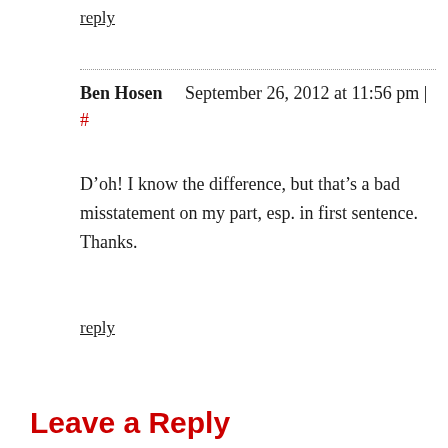reply
Ben Hosen    September 26, 2012 at 11:56 pm | #
D’oh! I know the difference, but that’s a bad misstatement on my part, esp. in first sentence. Thanks.
reply
Leave a Reply